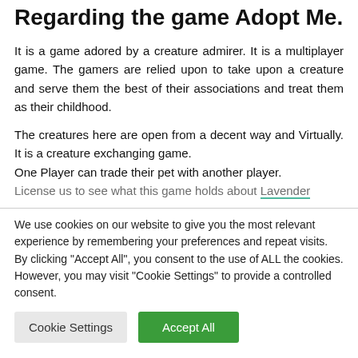Regarding the game Adopt Me.
It is a game adored by a creature admirer. It is a multiplayer game. The gamers are relied upon to take upon a creature and serve them the best of their associations and treat them as their childhood.
The creatures here are open from a decent way and Virtually. It is a creature exchanging game. One Player can trade their pet with another player. License us to see what this game holds about Lavender
We use cookies on our website to give you the most relevant experience by remembering your preferences and repeat visits. By clicking "Accept All", you consent to the use of ALL the cookies. However, you may visit "Cookie Settings" to provide a controlled consent.